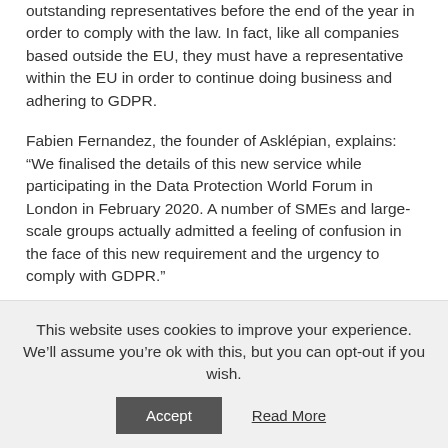outstanding representatives before the end of the year in order to comply with the law. In fact, like all companies based outside the EU, they must have a representative within the EU in order to continue doing business and adhering to GDPR.
Fabien Fernandez, the founder of Asklépian, explains: “We finalised the details of this new service while participating in the Data Protection World Forum in London in February 2020. A number of SMEs and large-scale groups actually admitted a feeling of confusion in the face of this new requirement and the urgency to comply with GDPR.”
The aim of launching this new service is therefore to simplify the daily realities of these companies by offering them a personalised, turnkey service.
This website uses cookies to improve your experience. We’ll assume you’re ok with this, but you can opt-out if you wish.